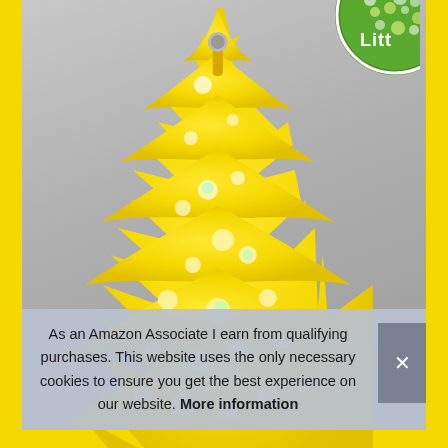[Figure (photo): Little Trees car air freshener product in yellow tree shape with water droplets/bubbles, in a gray packaging with yellow border. A circular logo (partially visible) is in the top right corner. The product appears to be a lemon/citrus scent air freshener.]
As an Amazon Associate I earn from qualifying purchases. This website uses the only necessary cookies to ensure you get the best experience on our website. More information